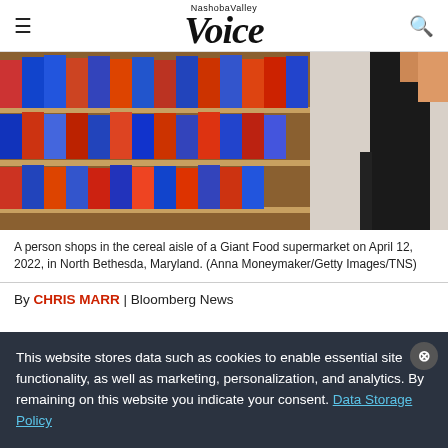Nashoba Valley Voice
[Figure (photo): A person shops in the cereal aisle of a Giant Food supermarket, with colorful cereal boxes lining the shelves on the left and a person in dark clothing visible on the right side of the aisle.]
A person shops in the cereal aisle of a Giant Food supermarket on April 12, 2022, in North Bethesda, Maryland. (Anna Moneymaker/Getty Images/TNS)
By CHRIS MARR | Bloomberg News
This website stores data such as cookies to enable essential site functionality, as well as marketing, personalization, and analytics. By remaining on this website you indicate your consent. Data Storage Policy